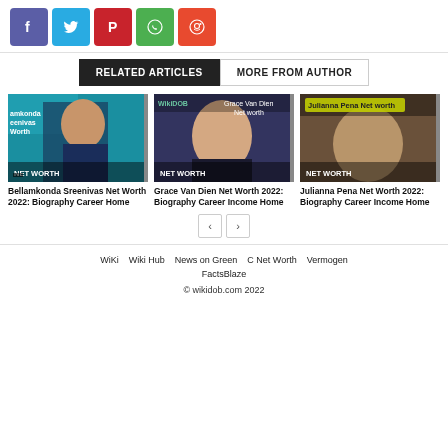[Figure (infographic): Social share buttons: Facebook (purple), Twitter (blue), Pinterest (red), WhatsApp (green), Reddit (orange)]
RELATED ARTICLES | MORE FROM AUTHOR
[Figure (photo): Bellamkonda Sreenivas Net Worth 2022 article card with NET WORTH badge]
Bellamkonda Sreenivas Net Worth 2022: Biography Career Home
[Figure (photo): Grace Van Dien Net Worth 2022 article card with NET WORTH badge]
Grace Van Dien Net Worth 2022: Biography Career Income Home
[Figure (photo): Julianna Pena Net Worth 2022 article card with NET WORTH badge]
Julianna Pena Net Worth 2022: Biography Career Income Home
WiKi   Wiki Hub   News on Green   C Net Worth   Vermogen   FactsBlaze
© wikidob.com 2022